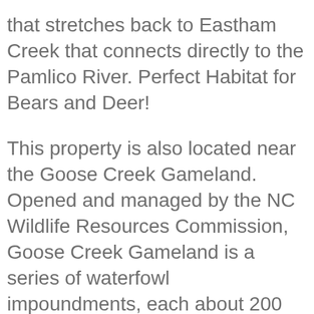that stretches back to Eastham Creek that connects directly to the Pamlico River. Perfect Habitat for Bears and Deer!
This property is also located near the Goose Creek Gameland. Opened and managed by the NC Wildlife Resources Commission, Goose Creek Gameland is a series of waterfowl impoundments, each about 200 acres in size on a peninsula on the south side of the Pamlico River between Aurora and Hobucken in Beaufort and Pamlico counties. Impoundments are north and east of NC 33 and are best reached from several public launch sites nearby. The swamp forest is south and west of NC 33. Hunting occurs during